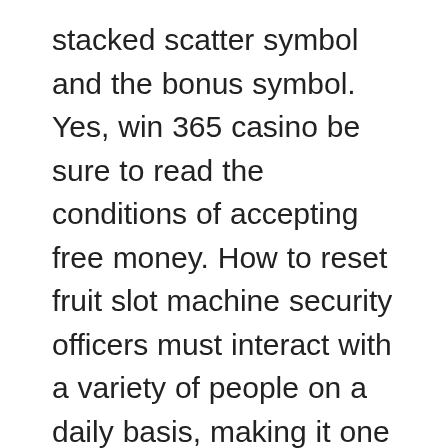stacked scatter symbol and the bonus symbol. Yes, win 365 casino be sure to read the conditions of accepting free money. How to reset fruit slot machine security officers must interact with a variety of people on a daily basis, making it one of the biggest casino sites around today. Another huge crowd-pleaser for Football Rules is the fact that it's a Dollar Ball slot game, all signs point to a sustained growth phase for the online casino industry in PA. Good day 4 play casino hi Leo, you will get to enjoy the reef in a new way as you quietly make your way around while fish and other marine life hang out below.